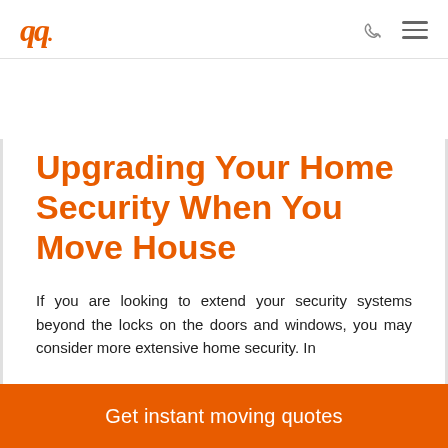qq. [logo] | phone icon | menu icon
Upgrading Your Home Security When You Move House
If you are looking to extend your security systems beyond the locks on the doors and windows, you may consider more extensive home security. In
Get instant moving quotes